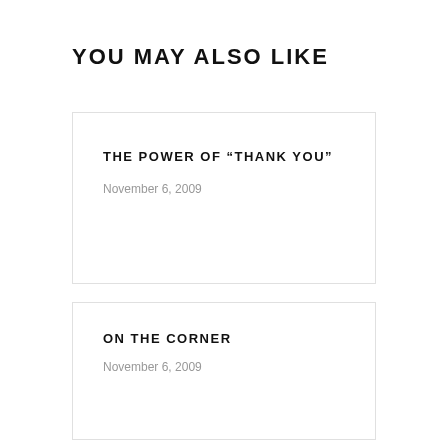YOU MAY ALSO LIKE
THE POWER OF “THANK YOU”
November 6, 2009
ON THE CORNER
November 6, 2009